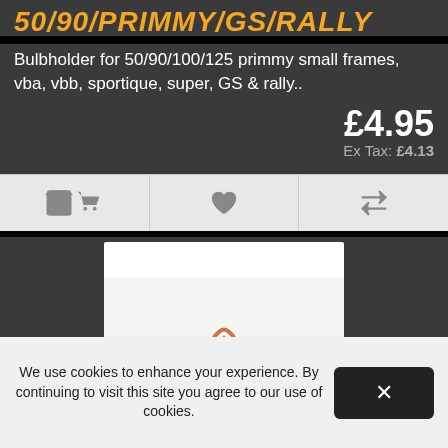50/90/PRIMMY/GS/RALLY
Bulbholder for 50/90/100/125 primmy small frames, vba, vbb, sportique, super, GS & rally..
£4.95
Ex Tax: £4.13
[Figure (screenshot): Action bar with three icon buttons: shopping cart, heart/wishlist, and compare arrows]
[Figure (photo): Photograph of a black and copper bulbholder component for vintage scooters, shown against white background]
We use cookies to enhance your experience. By continuing to visit this site you agree to our use of cookies.